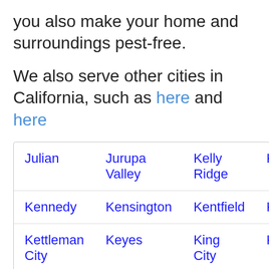you also make your home and surroundings pest-free.
We also serve other cities in California, such as here and here
| Julian | Jurupa Valley | Kelly Ridge | Kels… |
| Kennedy | Kensington | Kentfield | Kern… |
| Kettleman City | Keyes | King City | King… |